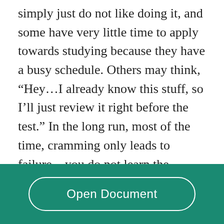some do not have a lot of motivation to study, or simply just do not like doing it, and some have very little time to apply towards studying because they have a busy schedule. Others may think, “Hey…I already know this stuff, so I’ll just review it right before the test.” In the long run, most of the time, cramming only leads to failure – you do not learn the material, you do not remember all of what you wished crammed, and it increases your stress level which could be bad on your test score. Cramming can lead to several health effect as well as education effect; here’s a few ill... am for an
Read More
Open Document